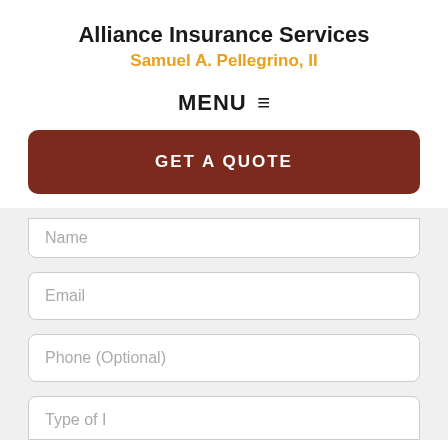Alliance Insurance Services
Samuel A. Pellegrino, II
MENU ≡
GET A QUOTE
Name
Email
Phone (Optional)
Type of I...